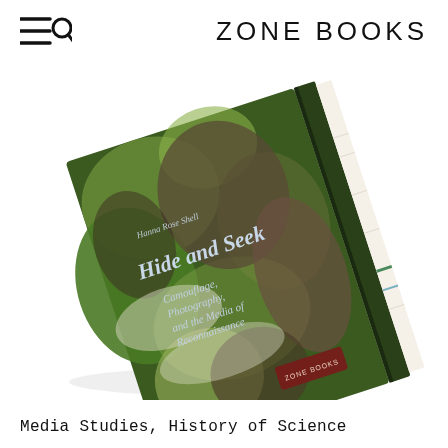ZONE BOOKS
[Figure (photo): A hardcover book titled 'Hide and Seek: Camouflage, Photography, and the Media of Reconnaissance' by Hanna Rose Shell, published by Zone Books. The book cover features a green and earthy camouflage-like photograph and is shown at an angle on a white background.]
Media Studies, History of Science